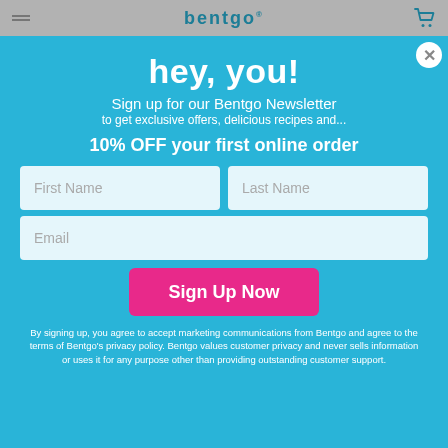bentgo
hey, you!
Sign up for our Bentgo Newsletter
to get exclusive offers, delicious recipes and...
10% OFF your first online order
First Name
Last Name
Email
Sign Up Now
By signing up, you agree to accept marketing communications from Bentgo and agree to the terms of Bentgo's privacy policy. Bentgo values customer privacy and never sells information or uses it for any purpose other than providing outstanding customer support.